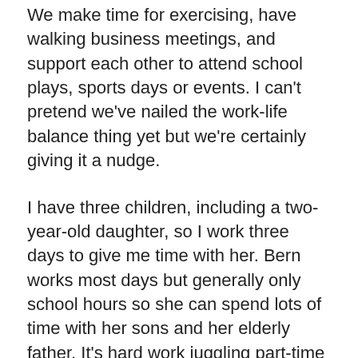We make time for exercising, have walking business meetings, and support each other to attend school plays, sports days or events. I can't pretend we've nailed the work-life balance thing yet but we're certainly giving it a nudge.
I have three children, including a two-year-old daughter, so I work three days to give me time with her. Bern works most days but generally only school hours so she can spend lots of time with her sons and her elderly father. It's hard work juggling part-time hours when your employment agency clients and candidates work a full working week. I schedule meetings around my daughter's naps on my days off, and we both work the phones in the evening. It's a juggle, but we have also learned to share the load between us. I wouldn't have wanted to attempt self-